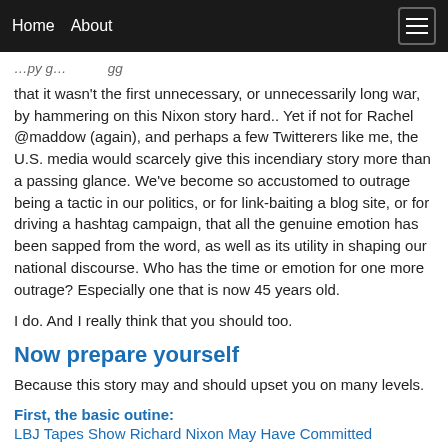Home  About
that it wasn't the first unnecessary, or unnecessarily long war, by hammering on this Nixon story hard.. Yet if not for Rachel @maddow (again), and perhaps a few Twitterers like me, the U.S. media would scarcely give this incendiary story more than a passing glance. We've become so accustomed to outrage being a tactic in our politics, or for link-baiting a blog site, or for driving a hashtag campaign, that all the genuine emotion has been sapped from the word, as well as its utility in shaping our national discourse. Who has the time or emotion for one more outrage? Especially one that is now 45 years old.
I do. And I really think that you should too.
Now prepare yourself
Because this story may and should upset you on many levels.
First, the basic outine:
LBJ Tapes Show Richard Nixon May Have Committed